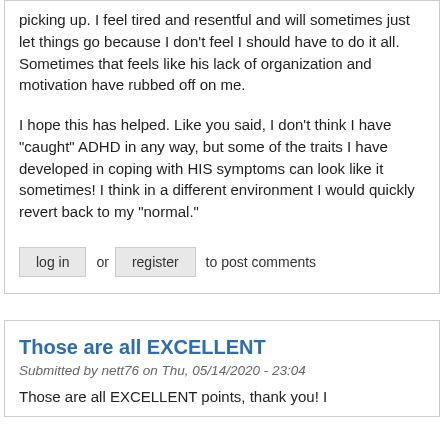picking up. I feel tired and resentful and will sometimes just let things go because I don't feel I should have to do it all. Sometimes that feels like his lack of organization and motivation have rubbed off on me.

I hope this has helped. Like you said, I don't think I have "caught" ADHD in any way, but some of the traits I have developed in coping with HIS symptoms can look like it sometimes! I think in a different environment I would quickly revert back to my "normal."
log in or register to post comments
Those are all EXCELLENT
Submitted by nett76 on Thu, 05/14/2020 - 23:04
Those are all EXCELLENT points, thank you! I